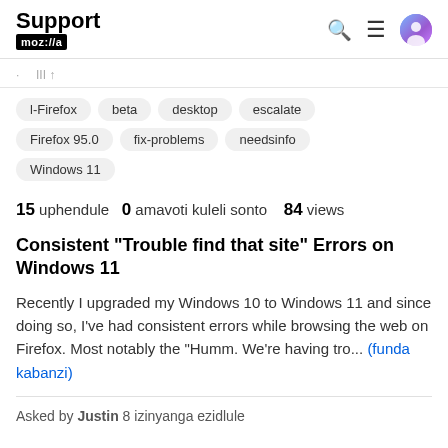Support moz://a
l-Firefox
beta
desktop
escalate
Firefox 95.0
fix-problems
needsinfo
Windows 11
15 uphendule  0 amavoti kuleli sonto  84 views
Consistent "Trouble find that site" Errors on Windows 11
Recently I upgraded my Windows 10 to Windows 11 and since doing so, I've had consistent errors while browsing the web on Firefox. Most notably the "Humm. We're having tro...  (funda kabanzi)
Asked by Justin 8 izinyanga ezidlule